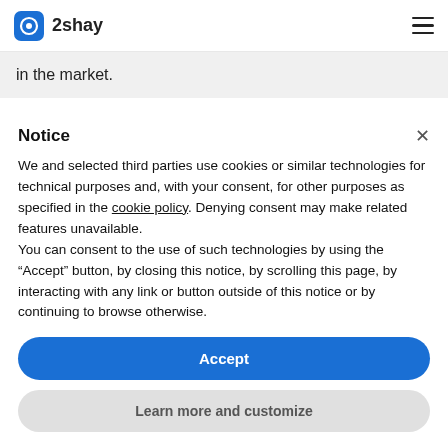2shay
in the market.
Notice
We and selected third parties use cookies or similar technologies for technical purposes and, with your consent, for other purposes as specified in the cookie policy. Denying consent may make related features unavailable.
You can consent to the use of such technologies by using the “Accept” button, by closing this notice, by scrolling this page, by interacting with any link or button outside of this notice or by continuing to browse otherwise.
Accept
Learn more and customize